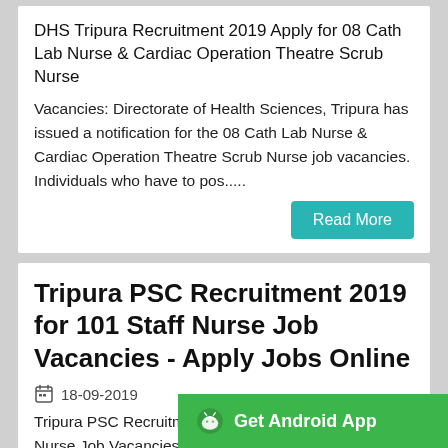DHS Tripura Recruitment 2019 Apply for 08 Cath Lab Nurse & Cardiac Operation Theatre Scrub Nurse
Vacancies: Directorate of Health Sciences, Tripura has issued a notification for the 08 Cath Lab Nurse & Cardiac Operation Theatre Scrub Nurse job vacancies. Individuals who have to pos.....
Tripura PSC Recruitment 2019 for 101 Staff Nurse Job Vacancies - Apply Jobs Online
18-09-2019
Tripura PSC Recruitment 2019 Apply for 101 Staff Nurse Job Vacancies Apply for Staff Nurse Application Form @ tpsc.gov.in: Tripura Public Service Commission issued a notification for the 101 Staff Nurse job vacancies.